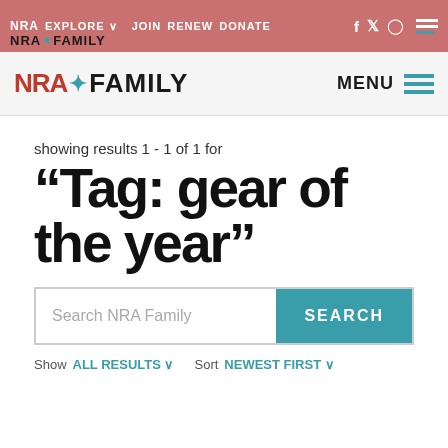NRA EXPLORE ∨ JOIN RENEW DONATE
NRA FAMILY | MENU
showing results 1 - 1 of 1 for
“Tag: gear of the year”
Search NRA Family | SEARCH
Show ALL RESULTS ∨  Sort NEWEST FIRST ∨